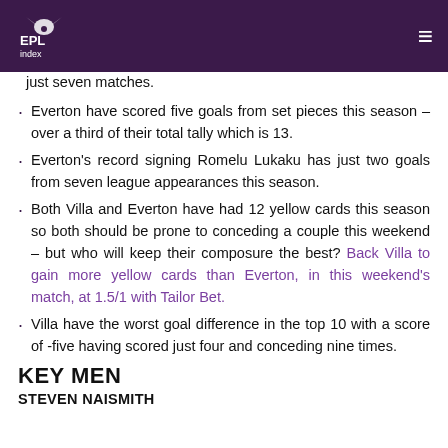EPL Index
just seven matches.
Everton have scored five goals from set pieces this season – over a third of their total tally which is 13.
Everton's record signing Romelu Lukaku has just two goals from seven league appearances this season.
Both Villa and Everton have had 12 yellow cards this season so both should be prone to conceding a couple this weekend – but who will keep their composure the best? Back Villa to gain more yellow cards than Everton, in this weekend's match, at 1.5/1 with Tailor Bet.
Villa have the worst goal difference in the top 10 with a score of -five having scored just four and conceding nine times.
KEY MEN
STEVEN NAISMITH